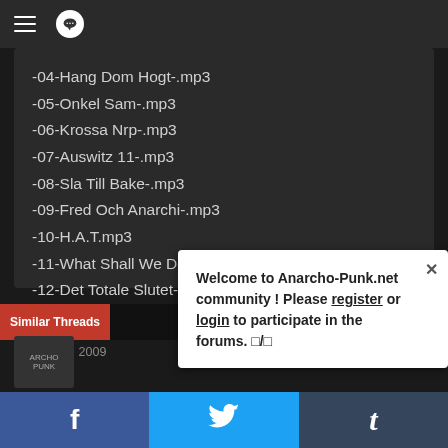-04-Hang Dom Hogt-.mp3
-05-Onkel Sam-.mp3
-06-Krossa Nrp-.mp3
-07-Auswitz 11-.mp3
-08-Sla Till Bake-.mp3
-09-Fred Och Anarchi-.mp3
-10-H.A.T.mp3
-11-What Shall We Do-.mp3
-12-Det Totale Slutet-.mp3
-13-Fascismens Dod-.mp3
Aug 10, 2009
(You must log in or sign up to reply here.)
Similar Threads
Welcome to Anarcho-Punk.net community ! Please register or login to participate in the forums. □/□